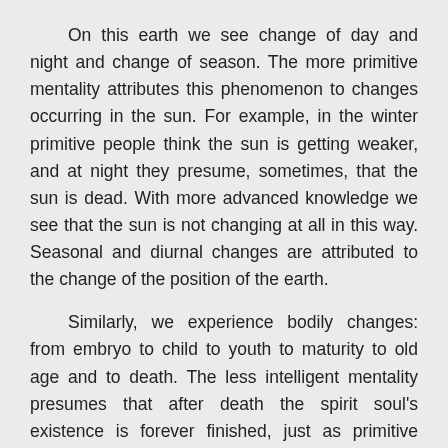On this earth we see change of day and night and change of season. The more primitive mentality attributes this phenomenon to changes occurring in the sun. For example, in the winter primitive people think the sun is getting weaker, and at night they presume, sometimes, that the sun is dead. With more advanced knowledge we see that the sun is not changing at all in this way. Seasonal and diurnal changes are attributed to the change of the position of the earth.

Similarly, we experience bodily changes: from embryo to child to youth to maturity to old age and to death. The less intelligent mentality presumes that after death the spirit soul's existence is forever finished, just as primitive tribes believe that the sun dies at sunset. Actually, however, the sun is rising in